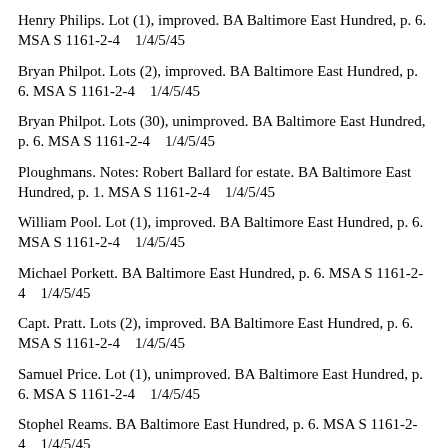Henry Philips. Lot (1), improved. BA Baltimore East Hundred, p. 6. MSA S 1161-2-4    1/4/5/45
Bryan Philpot. Lots (2), improved. BA Baltimore East Hundred, p. 6. MSA S 1161-2-4    1/4/5/45
Bryan Philpot. Lots (30), unimproved. BA Baltimore East Hundred, p. 6. MSA S 1161-2-4    1/4/5/45
Ploughmans. Notes: Robert Ballard for estate. BA Baltimore East Hundred, p. 1. MSA S 1161-2-4    1/4/5/45
William Pool. Lot (1), improved. BA Baltimore East Hundred, p. 6. MSA S 1161-2-4    1/4/5/45
Michael Porkett. BA Baltimore East Hundred, p. 6. MSA S 1161-2-4    1/4/5/45
Capt. Pratt. Lots (2), improved. BA Baltimore East Hundred, p. 6. MSA S 1161-2-4    1/4/5/45
Samuel Price. Lot (1), unimproved. BA Baltimore East Hundred, p. 6. MSA S 1161-2-4    1/4/5/45
Stophel Reams. BA Baltimore East Hundred, p. 6. MSA S 1161-2-4    1/4/5/45